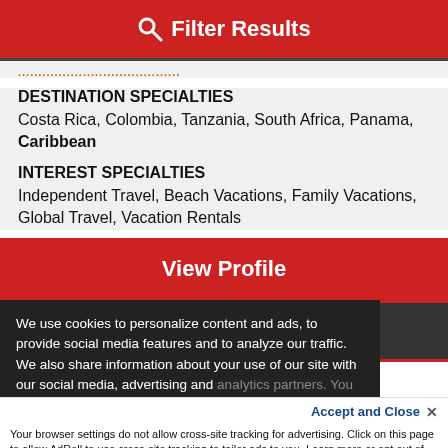Filter Results
INDEPENDENT TOURS & SERVICES
DESTINATION SPECIALTIES
Costa Rica, Colombia, Tanzania, South Africa, Panama, Caribbean
INTEREST SPECIALTIES
Independent Travel, Beach Vacations, Family Vacations, Global Travel, Vacation Rentals
View Profile
Email Me
Call Me
We use cookies to personalize content and ads, to provide social media features and to analyze our traffic. We also share information about your use of our site with our social media, advertising and analytics partners. You can use
Accept and Close ✕
Your browser settings do not allow cross-site tracking for advertising. Click on this page to allow AdRoll to use cross-site tracking to tailor ads to you. Learn more or opt out of this AdRoll tracking by clicking here. This message only appears once.